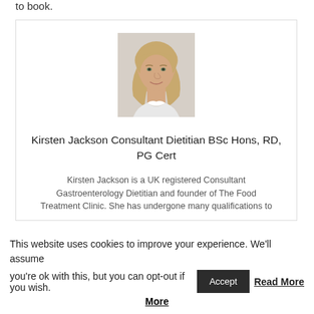to book.
[Figure (photo): Headshot photo of Kirsten Jackson, a blonde woman smiling, professional portrait]
Kirsten Jackson Consultant Dietitian BSc Hons, RD, PG Cert
Kirsten Jackson is a UK registered Consultant Gastroenterology Dietitian and founder of The Food Treatment Clinic. She has undergone many qualifications to
This website uses cookies to improve your experience. We'll assume you're ok with this, but you can opt-out if you wish.
Read More